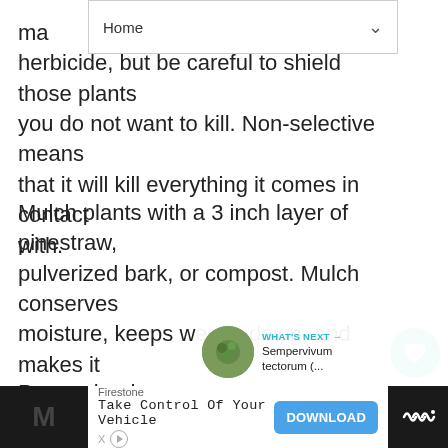Home
herbicide, but be careful to shield those plants you do not want to kill. Non-selective means that it will kill everything it comes in contact with.
Mulch plants with a 3 inch layer of pinestraw, pulverized bark, or compost. Mulch conserves moisture, keeps weeds down, and makes it easier to pull when necessary.
Porous landscape or open weave fabric wo... too, allowing air and water to be exch...
[Figure (screenshot): WHAT'S NEXT arrow with Sempervivum tectorum thumbnail and text]
[Figure (screenshot): Advertisement banner: Firestone Take Control Of Your Vehicle with DOWNLOAD button]